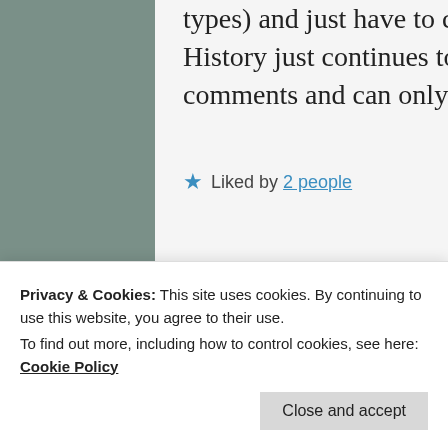types) and just have to catch my breath and sit for a time. History just continues to repeat itself. I have read all the comments and can only echo all that has been said.
★ Liked by 2 people
Privacy & Cookies: This site uses cookies. By continuing to use this website, you agree to their use.
To find out more, including how to control cookies, see here: Cookie Policy